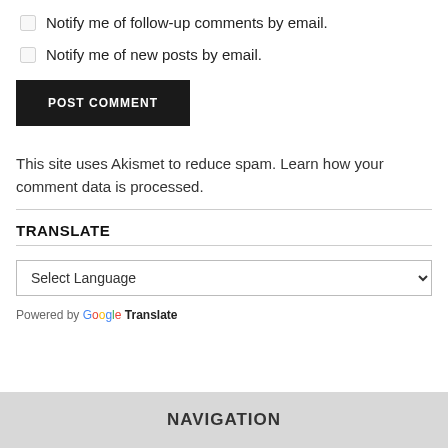Notify me of follow-up comments by email.
Notify me of new posts by email.
POST COMMENT
This site uses Akismet to reduce spam. Learn how your comment data is processed.
TRANSLATE
Select Language
Powered by Google Translate
NAVIGATION